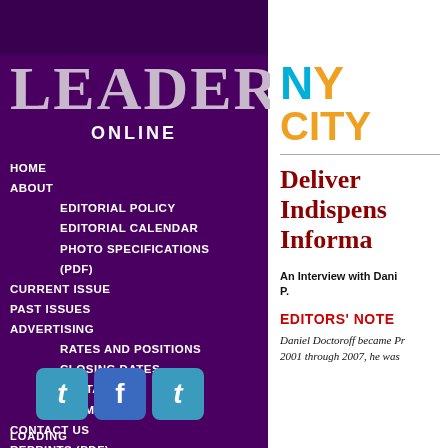LEADERS
ONLINE
HOME
ABOUT
EDITORIAL POLICY
EDITORIAL CALENDAR
PHOTO SPECIFICATIONS (PDF)
CURRENT ISSUE
PAST ISSUES
ADVERTISING
RATES AND POSITIONS
CLOSING DATES
DIGITAL ADS
TERMS
CONTACT US
REPRINTS (PDF)
BPA(PDF)
[Figure (logo): NY CITY logo with NY in blue/orange and CITY in orange]
Delivering Indispensable Information
An Interview with Daniel P.
EDITORS' NOTE
Daniel Doctoroff became Pr... 2001 through 2007, he was...
LOADING